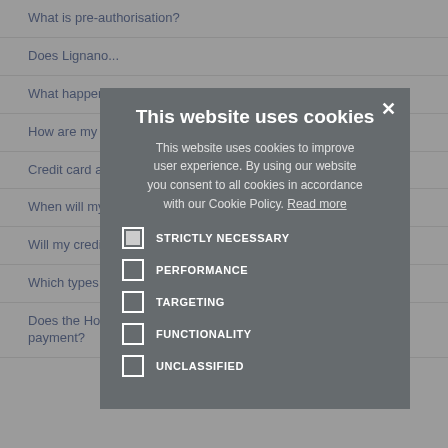What is pre-authorisation?
Does Lignano...
What happens to my personal information?
How are my credit card data protected?
Credit card as guarantee. What does it mean?
When will my credit card be charged?
Will my credit card charged?
Which types of credit cards can I use?
Does the Hotel/Agency ask for a deposit or an advance payment?
[Figure (screenshot): Cookie consent modal dialog titled 'This website uses cookies' with options: STRICTLY NECESSARY (checked), PERFORMANCE (unchecked), TARGETING (unchecked), FUNCTIONALITY (unchecked), UNCLASSIFIED (unchecked). Text reads: This website uses cookies to improve user experience. By using our website you consent to all cookies in accordance with our Cookie Policy. Read more]